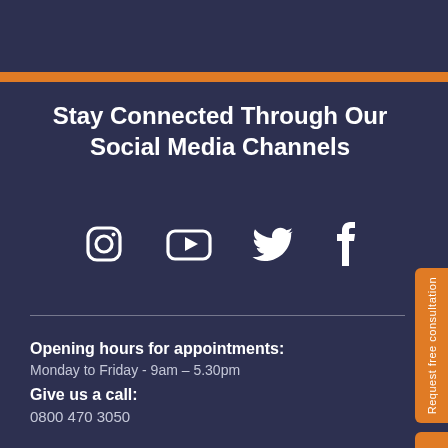Stay Connected Through Our Social Media Channels
[Figure (infographic): Four social media icons in white on dark background: Instagram, YouTube, Twitter, Facebook]
Opening hours for appointments:
Monday to Friday - 9am – 5.30pm
Give us a call:
0800 470 3050
Request free consultation